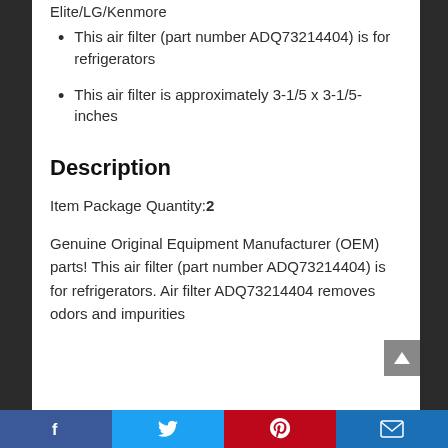Elite/LG/Kenmore
This air filter (part number ADQ73214404) is for refrigerators
This air filter is approximately 3-1/5 x 3-1/5-inches
Description
Item Package Quantity: 2
Genuine Original Equipment Manufacturer (OEM) parts! This air filter (part number ADQ73214404) is for refrigerators. Air filter ADQ73214404 removes odors and impurities